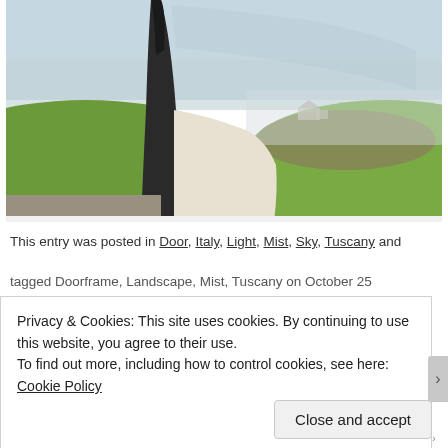[Figure (photo): Photograph of a car door frame/window in the foreground with a misty Tuscan landscape in the background, showing green rolling hills, fog, and a farmhouse in the distance under a pale blue-grey sky.]
This entry was posted in Door, Italy, Light, Mist, Sky, Tuscany and
tagged Doorframe, Landscape, Mist, Tuscany on October 25
Privacy & Cookies: This site uses cookies. By continuing to use this website, you agree to their use.
To find out more, including how to control cookies, see here: Cookie Policy
Close and accept